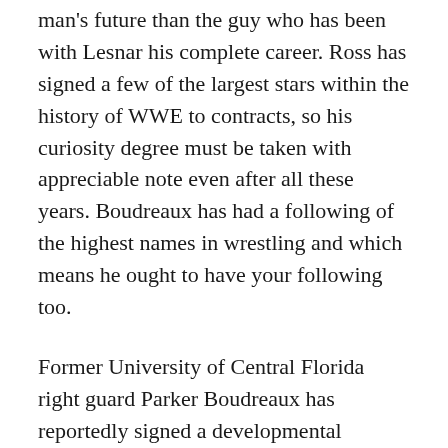man's future than the guy who has been with Lesnar his complete career. Ross has signed a few of the largest stars within the history of WWE to contracts, so his curiosity degree must be taken with appreciable note even after all these years. Boudreaux has had a following of the highest names in wrestling and which means he ought to have your following too.
Former University of Central Florida right guard Parker Boudreaux has reportedly signed a developmental contract with World Wrestling Entertainment . In a report by The Wrestling Observer, the previous faculty offensive lineman has signed with the corporate. The report has sent wrestling followers right into a frenzy contemplating the comparisons Boudreaux has acquired from fans and wrestling personalities